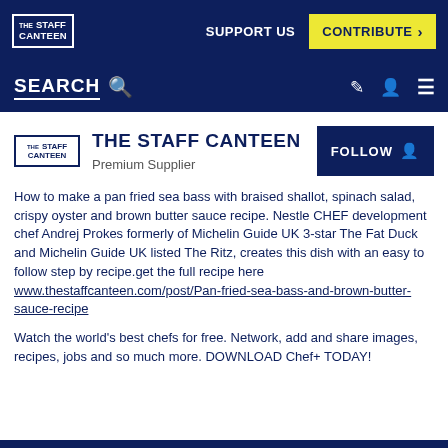THE STAFF CANTEEN | SUPPORT US | CONTRIBUTE >
SEARCH
THE STAFF CANTEEN
Premium Supplier
How to make a pan fried sea bass with braised shallot, spinach salad, crispy oyster and brown butter sauce recipe. Nestle CHEF development chef Andrej Prokes formerly of Michelin Guide UK 3-star The Fat Duck and Michelin Guide UK listed The Ritz, creates this dish with an easy to follow step by recipe.get the full recipe here www.thestaffcanteen.com/post/Pan-fried-sea-bass-and-brown-butter-sauce-recipe
Watch the world's best chefs for free. Network, add and share images, recipes, jobs and so much more. DOWNLOAD Chef+ TODAY!